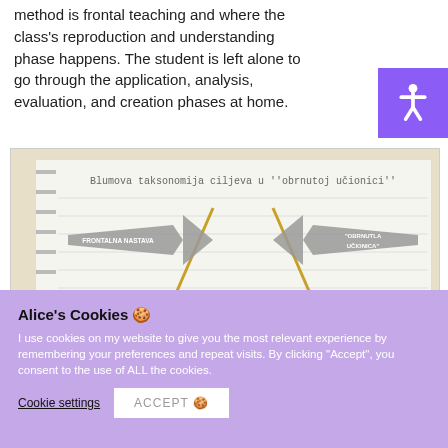method is frontal teaching and where the class's reproduction and understanding phase happens. The student is left alone to go through the application, analysis, evaluation, and creation phases at home.
[Figure (infographic): Notebook diagram titled 'Blumova taksonomija ciljeva u ''obrnutoj učionici''' showing two arrows: left arrow labeled 'FRONTALNA NASTAVA' pointing right, and right arrow labeled '''OBRNUTLA UČIONICA''' pointing left, with two diagonal golden lines forming a V shape in the middle representing the division between the two teaching methods.]
Alice's Cookies 🍪
I use cookies on my website to give you the most relevant experience by remembering your preferences and repeat visits. By clicking "Accept", you consent to the use of ALL the cookies.
Cookie settings   ACCEPT 🍪